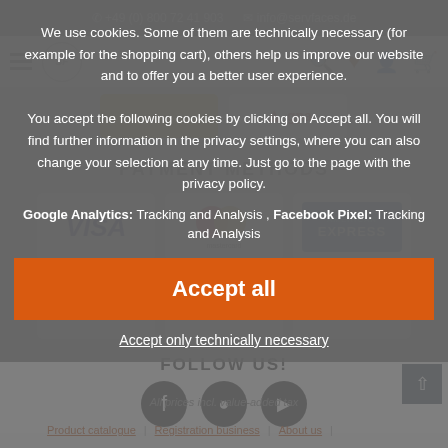+49 (0) 800 72 41 903   info@servfaces.de
[Figure (screenshot): Navigation bar with hamburger menu, SF logo, search, heart, user, and cart icons]
[Figure (screenshot): Partial payment logos strip showing yellow card and red/white GPa logo]
PAYMENT METHODS
[Figure (screenshot): Payment method logos: Visa, Mastercard, American Express, PayPal, Sofort, Vorkasse]
FOLLOW US!
[Figure (screenshot): Social media icons: Facebook, Instagram, YouTube]
All prices incl. value-added tax
Product catalogue | Registration business | About us |
We use cookies. Some of them are technically necessary (for example for the shopping cart), others help us improve our website and to offer you a better user experience. You accept the following cookies by clicking on Accept all. You will find further information in the privacy settings, where you can also change your selection at any time. Just go to the page with the privacy policy.
Google Analytics: Tracking and Analysis , Facebook Pixel: Tracking and Analysis
Accept all
Accept only technically necessary